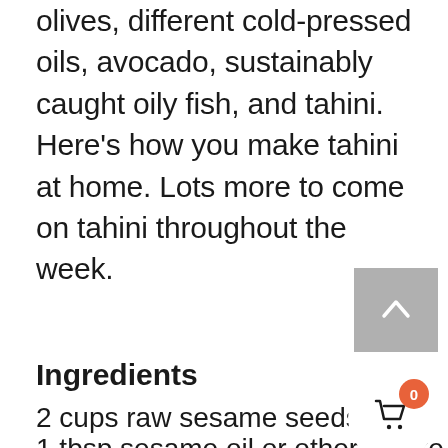olives, different cold-pressed oils, avocado, sustainably caught oily fish, and tahini. Here's how you make tahini at home. Lots more to come on tahini throughout the week.
[Figure (other): Grey scroll-to-top button with upward chevron arrow]
Ingredients
2 cups raw sesame seeds
1 tbsp sesame oil or other oil like macadamia
[Figure (other): Shopping cart icon with orange badge showing 0 items]